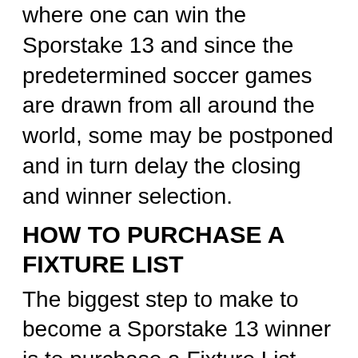where one can win the Sporstake 13 and since the predetermined soccer games are drawn from all around the world, some may be postponed and in turn delay the closing and winner selection.
HOW TO PURCHASE A FIXTURE LIST
The biggest step to make to become a Sporstake 13 winner is to purchase a Fixture List that will then enable them player to predict an outcome of the 13 predetermined soccer games. There are two main ways that players can